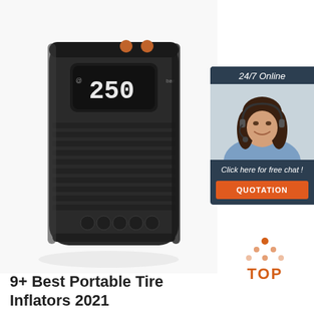[Figure (photo): Black portable tire inflator/air compressor with digital display showing '250' and four control buttons on front panel]
[Figure (infographic): Advertisement sidebar: dark navy background with '24/7 Online' header, photo of smiling woman wearing headset, 'Click here for free chat!' text, orange QUOTATION button]
[Figure (logo): TOP badge with orange triangle made of dots above the word TOP in orange text]
9+ Best Portable Tire Inflators 2021